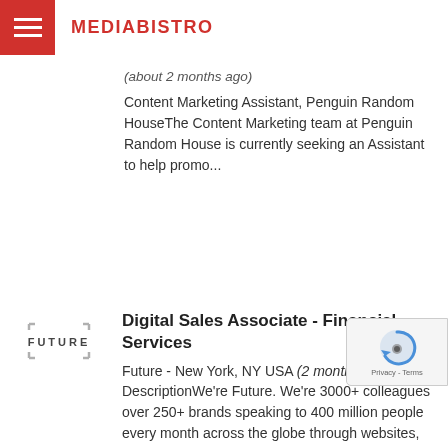MEDIABISTRO
(about 2 months ago)
Content Marketing Assistant, Penguin Random HouseThe Content Marketing team at Penguin Random House is currently seeking an Assistant to help promo...
Digital Sales Associate - Financial Services
Future - New York, NY USA (2 months ago)
DescriptionWe're Future. We're 3000+ colleagues over 250+ brands speaking to 400 million people every month across the globe through websites, even...
VP, Local Market Engagement